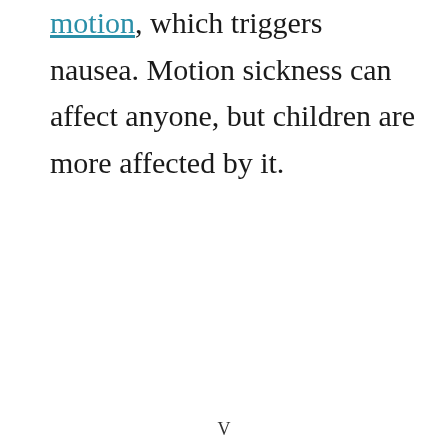motion, which triggers nausea. Motion sickness can affect anyone, but children are more affected by it.
V